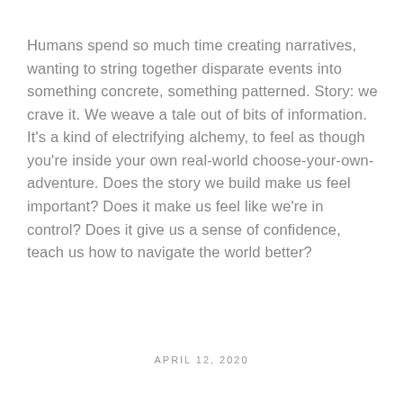Humans spend so much time creating narratives, wanting to string together disparate events into something concrete, something patterned. Story: we crave it. We weave a tale out of bits of information. It's a kind of electrifying alchemy, to feel as though you're inside your own real-world choose-your-own-adventure. Does the story we build make us feel important? Does it make us feel like we're in control? Does it give us a sense of confidence, teach us how to navigate the world better?
APRIL 12, 2020